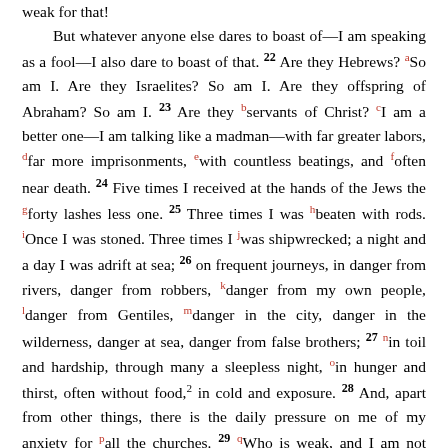weak for that! But whatever anyone else dares to boast of—I am speaking as a fool—I also dare to boast of that. 22 Are they Hebrews? So am I. Are they Israelites? So am I. Are they offspring of Abraham? So am I. 23 Are they servants of Christ? I am a better one—I am talking like a madman—with far greater labors, far more imprisonments, with countless beatings, and often near death. 24 Five times I received at the hands of the Jews the forty lashes less one. 25 Three times I was beaten with rods. Once I was stoned. Three times I was shipwrecked; a night and a day I was adrift at sea; 26 on frequent journeys, in danger from rivers, danger from robbers, danger from my own people, danger from Gentiles, danger in the city, danger in the wilderness, danger at sea, danger from false brothers; 27 in toil and hardship, through many a sleepless night, in hunger and thirst, often without food, in cold and exposure. 28 And, apart from other things, there is the daily pressure on me of my anxiety for all the churches. 29 Who is weak, and I am not weak? Who is made to fall, and I am not indignant?